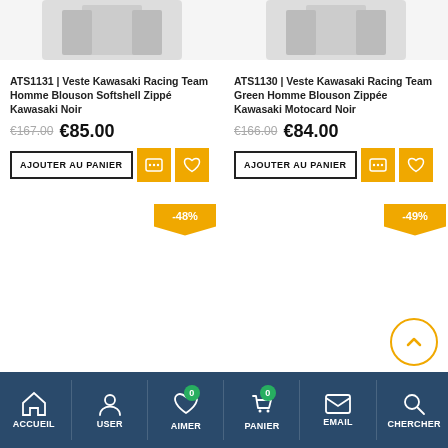[Figure (photo): Product image of Kawasaki Racing Team jacket (left product, top, partially cropped)]
[Figure (photo): Product image of Kawasaki Racing Team jacket (right product, top, partially cropped)]
ATS1131 | Veste Kawasaki Racing Team Homme Blouson Softshell Zippé Kawasaki Noir
ATS1130 | Veste Kawasaki Racing Team Green Homme Blouson Zippée Kawasaki Motocard Noir
€167.00  €85.00
€166.00  €84.00
AJOUTER AU PANIER
AJOUTER AU PANIER
-48%
-49%
ACCUEIL  USER  AIMER  PANIER  EMAIL  CHERCHER